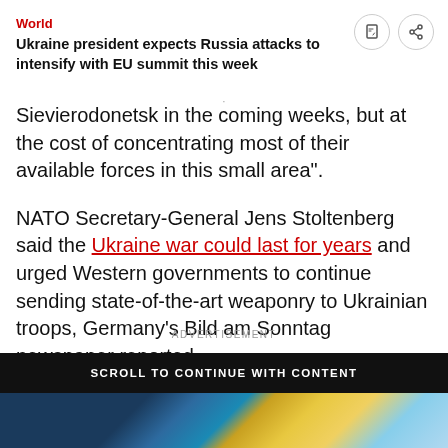World
Ukraine president expects Russia attacks to intensify with EU summit this week
Sievierodonetsk in the coming weeks, but at the cost of concentrating most of their available forces in this small area".
NATO Secretary-General Jens Stoltenberg said the Ukraine war could last for years and urged Western governments to continue sending state-of-the-art weaponry to Ukrainian troops, Germany's Bild am Sonntag newspaper reported.
ADVERTISEMENT
SCROLL TO CONTINUE WITH CONTENT
[Figure (photo): Advertisement image with blue and gold abstract colors]